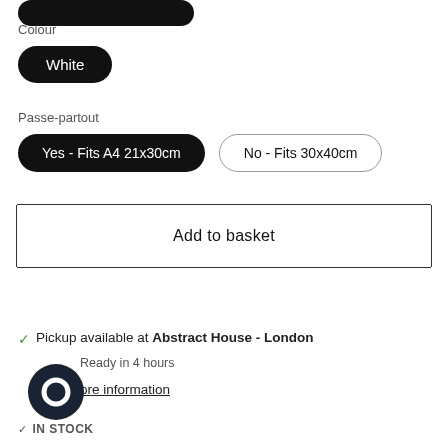[Figure (other): Partial black rounded pill button cut off at top of page]
Colour
White
Passe-partout
Yes - Fits A4 21x30cm
No - Fits 30x40cm
Add to basket
Pickup available at Abstract House - London
Ready in 4 hours
[Figure (logo): Dark circular logo icon (Abstract House logo)]
More information
IN STOCK